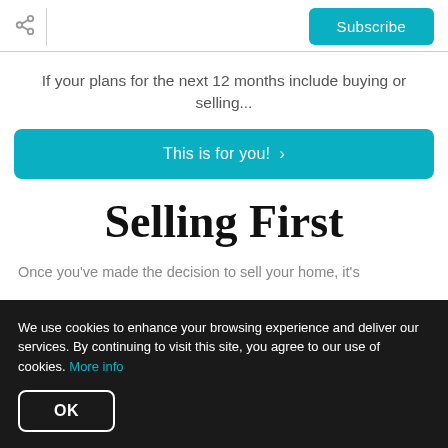Subscribe
If your plans for the next 12 months include buying or selling...
This is for you! >
Selling First
Once you've made the decision to sell your home, it's
We use cookies to enhance your browsing experience and deliver our services. By continuing to visit this site, you agree to our use of cookies. More info
OK